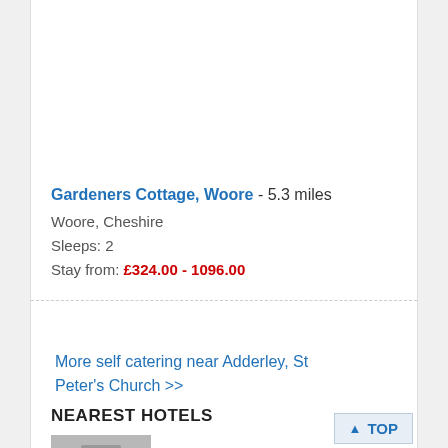Gardeners Cottage, Woore - 5.3 miles
Woore, Cheshire
Sleeps: 2
Stay from: £324.00 - 1096.00
More self catering near Adderley, St Peter's Church >>
NEAREST HOTELS
[Figure (photo): Partial photo of a hotel building, cropped at bottom of page]